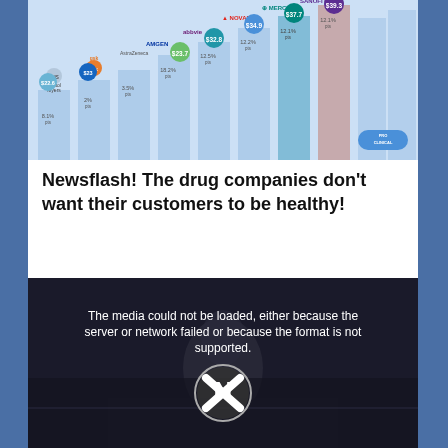[Figure (bar-chart): Bar chart showing pharmaceutical company revenues with logos and dollar values in bubble labels]
Newsflash! The drug companies don't want their customers to be healthy!
[Figure (screenshot): Video player showing error message: The media could not be loaded, either because the server or network failed or because the format is not supported. Shows a crossed-out play button icon over a dark background with a person silhouette.]